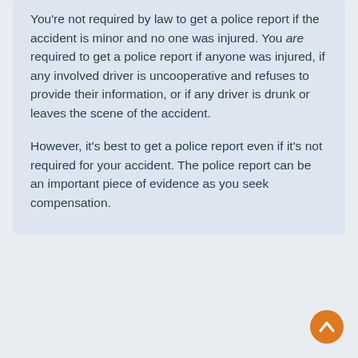You're not required by law to get a police report if the accident is minor and no one was injured. You are required to get a police report if anyone was injured, if any involved driver is uncooperative and refuses to provide their information, or if any driver is drunk or leaves the scene of the accident.
However, it's best to get a police report even if it's not required for your accident. The police report can be an important piece of evidence as you seek compensation.